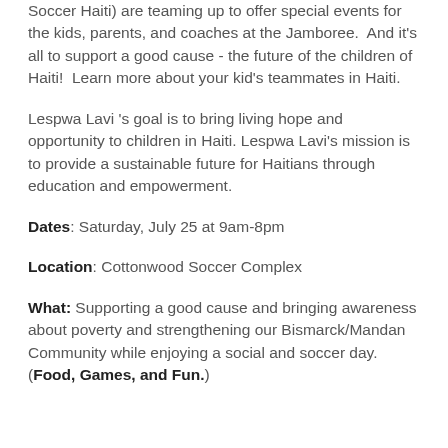Soccer Haiti) are teaming up to offer special events for the kids, parents, and coaches at the Jamboree.  And it's all to support a good cause - the future of the children of Haiti!  Learn more about your kid's teammates in Haiti.
Lespwa Lavi 's goal is to bring living hope and opportunity to children in Haiti. Lespwa Lavi's mission is to provide a sustainable future for Haitians through education and empowerment.
Dates: Saturday, July 25 at 9am-8pm
Location: Cottonwood Soccer Complex
What: Supporting a good cause and bringing awareness about poverty and strengthening our Bismarck/Mandan Community while enjoying a social and soccer day. (Food, Games, and Fun.)